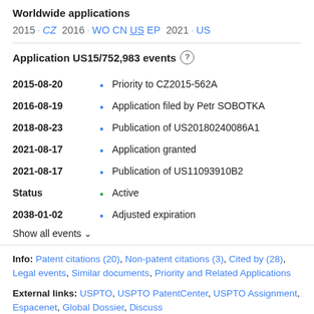Worldwide applications
2015 · CZ  2016 · WO CN US EP  2021 · US
Application US15/752,983 events
2015-08-20 • Priority to CZ2015-562A
2016-08-19 • Application filed by Petr SOBOTKA
2018-08-23 • Publication of US20180240086A1
2021-08-17 • Application granted
2021-08-17 • Publication of US11093910B2
Status • Active
2038-01-02 • Adjusted expiration
Show all events ∨
Info: Patent citations (20), Non-patent citations (3), Cited by (28), Legal events, Similar documents, Priority and Related Applications
External links: USPTO, USPTO PatentCenter, USPTO Assignment, Espacenet, Global Dossier, Discuss